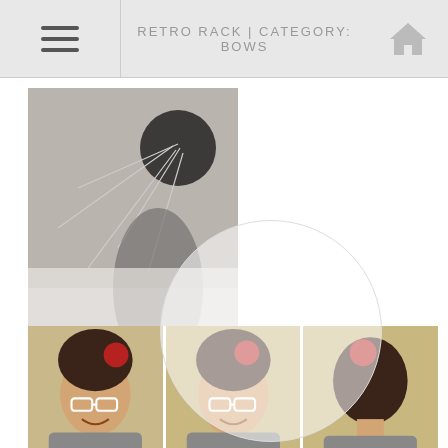RETRO RACK | CATEGORY: BOWS
[Figure (photo): Book cover for 'The Sumage Solution – San Andreas Shifters #1', black and white image of a figure with an umbrella, red serif title text]
For my book launch at Borderlands in San Francisco last weekend, Fashionable Reader, I chose one of my more striking and least worn statement dresses.
[Figure (photo): Three-panel photo strip showing a woman with dark hair, red flower hair accessory, glasses, smiling – front, side and back views]